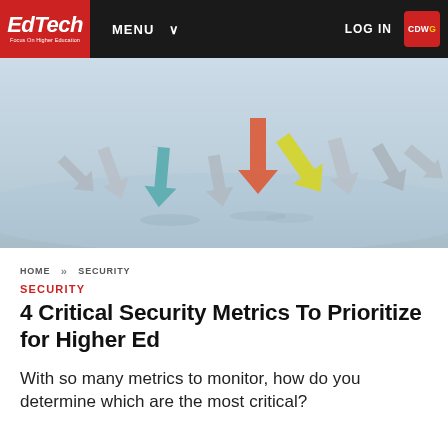EdTech Focus On Higher Education | MENU | LOG IN | CDWG
[Figure (photo): 3D rendered colorful directional arrows (gray, teal, orange, yellow-green) in various orientations on a light blue background, suggesting metrics and direction.]
HOME >> SECURITY
SECURITY
4 Critical Security Metrics To Prioritize for Higher Ed
With so many metrics to monitor, how do you determine which are the most critical?